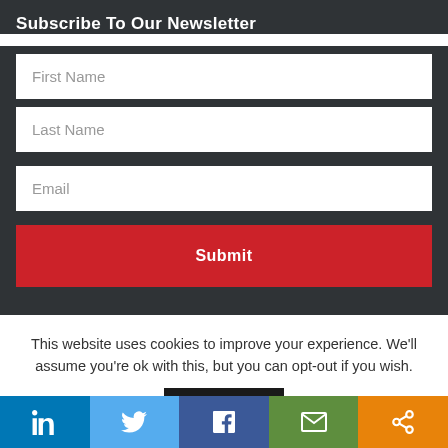Subscribe To Our Newsletter
First Name
Last Name
Email
Submit
This website uses cookies to improve your experience. We'll assume you're ok with this, but you can opt-out if you wish.
[Figure (infographic): Social media share buttons bar: LinkedIn (blue), Twitter (light blue), Facebook (dark blue), Email (green), Share (orange)]